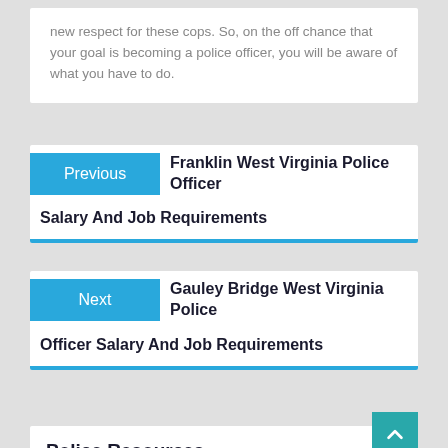new respect for these cops. So, on the off chance that your goal is becoming a police officer, you will be aware of what you have to do.
Previous  Franklin West Virginia Police Officer Salary And Job Requirements
Next  Gauley Bridge West Virginia Police Officer Salary And Job Requirements
Police Resources